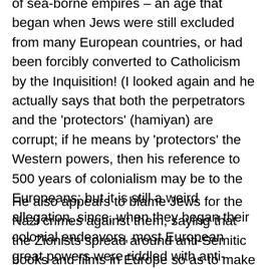of sea-borne empires – an age that began when Jews were still excluded from many European countries, or had been forcibly converted to Catholicism by the Inquisition! (I looked again and he actually says that both the perpetrators and the 'protectors' (hamiyan) are corrupt; if he means by 'protectors' the Western powers, then his reference to 500 years of colonialism may be to the Europeans; but it is still a weird allegation, since, when they began their colonial endeavors, most European great powers were riddled with anti-Semitism--what I said above still holds. And it is possible that the referent for the colonialists of 500 years is in fact the 'Zionists.')
He also appears to blame Jews for the Nazi crimes against them, saying that the Zionists spread around anti-Semitic books and films in Europe so as to make Jews hated and so as to cause them to be expelled to Palestine.
In other words, he is saying, all of modern history (possibly from the Portuguese conquest of Goa)